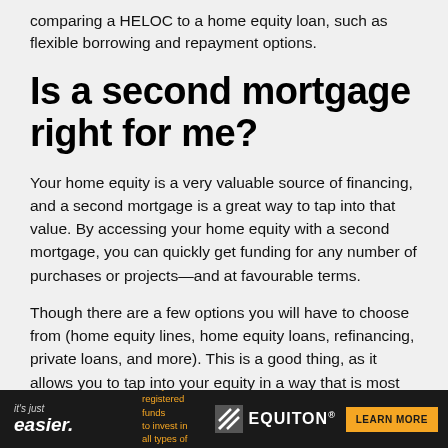comparing a HELOC to a home equity loan, such as flexible borrowing and repayment options.
Is a second mortgage right for me?
Your home equity is a very valuable source of financing, and a second mortgage is a great way to tap into that value. By accessing your home equity with a second mortgage, you can quickly get funding for any number of purchases or projects—and at favourable terms.
Though there are a few options you will have to choose from (home equity lines, home equity loans, refinancing, private loans, and more). This is a good thing, as it allows you to tap into your equity in a way that is most suited to your
it's just easier. | Use your registered funds to invest in all types of real estate. | EQUITON | LEARN MORE